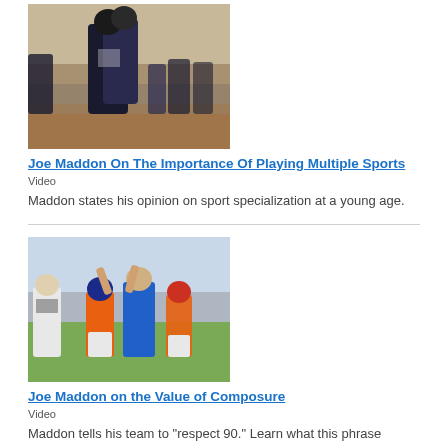[Figure (photo): Baseball players hugging on field after game, crowd in background]
Joe Maddon On The Importance Of Playing Multiple Sports
Video
Maddon states his opinion on sport specialization at a young age.
[Figure (photo): Youth baseball players high-fiving coach and teammates on field, player number 11 BLEVETT visible]
Joe Maddon on the Value of Composure
Video
Maddon tells his team to "respect 90." Learn what this phrase means and teach your kids how to honor the